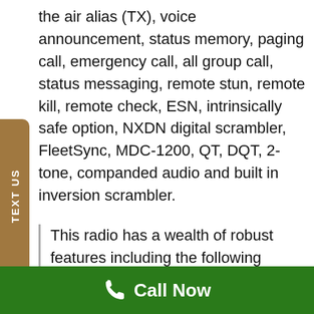the air alias (TX), voice announcement, status memory, paging call, emergency call, all group call, status messaging, remote stun, remote kill, remote check, ESN, intrinsically safe option, NXDN digital scrambler, FleetSync, MDC-1200, QT, DQT, 2-tone, companded audio and built in inversion scrambler.
This radio has a wealth of robust features including the following modes of operatio...
Call Now